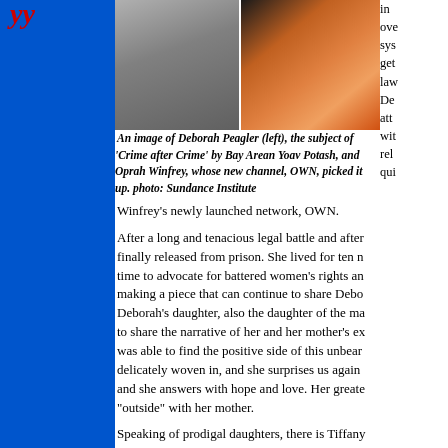[Figure (photo): Two photos side by side: left photo shows Deborah Peagler, right photo shows Oprah Winfrey in an orange top]
An image of Deborah Peagler (left), the subject of 'Crime after Crime' by Bay Arean Yoav Potash, and Oprah Winfrey, whose new channel, OWN, picked it up. photo: Sundance Institute
Winfrey's newly launched network, OWN.
After a long and tenacious legal battle and after finally released from prison. She lived for ten time to advocate for battered women's rights ar making a piece that can continue to share Debo Deborah's daughter, also the daughter of the ma to share the narrative of her and her mother's e was able to find the positive side of this unbear delicately woven in, and she surprises us again and she answers with hope and love. Her greate "outside" with her mother.
Speaking of prodigal daughters, there is Tiffany Shlain, filmmaker, creator of the online Webby Awards, and daughter of the best-selling author Leonard Shlain. Indeed, she tells us about of th